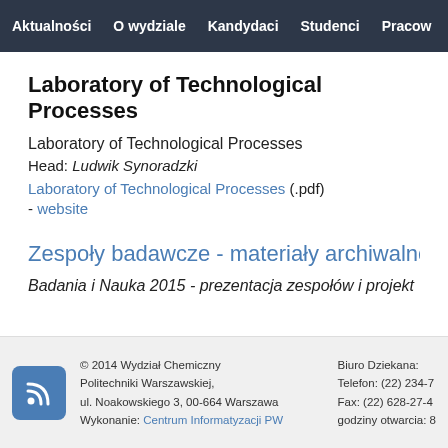Aktualności  O wydziale  Kandydaci  Studenci  Pracow
Laboratory of Technological Processes
Laboratory of Technological Processes
Head: Ludwik Synoradzki
Laboratory of Technological Processes (.pdf)
- website
Zespoły badawcze - materiały archiwalne
Badania i Nauka 2015 - prezentacja zespołów i projekt...
© 2014 Wydział Chemiczny Politechniki Warszawskiej, ul. Noakowskiego 3, 00-664 Warszawa
Wykonanie: Centrum Informatyzacji PW
Biuro Dziekana:
Telefon: (22) 234-7...
Fax: (22) 628-27-4...
godziny otwarcia: 8...